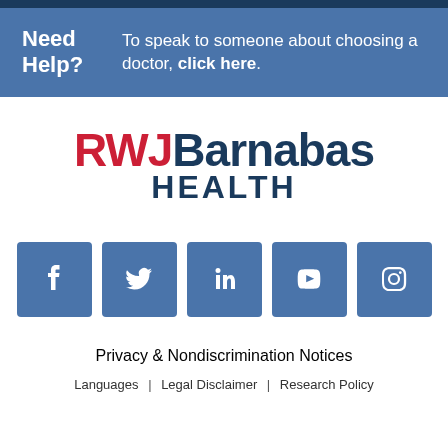Need Help? To speak to someone about choosing a doctor, click here.
[Figure (logo): RWJBarnabas Health logo with RWJ in red and Barnabas Health in dark blue]
[Figure (infographic): Social media icons row: Facebook, Twitter, LinkedIn, YouTube, Instagram - all in blue square buttons with white icons]
Privacy & Nondiscrimination Notices
Languages | Legal Disclaimer | Research Policy